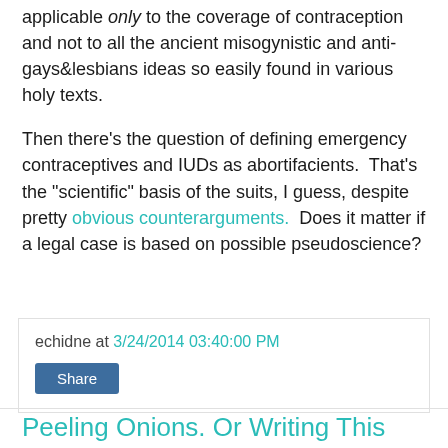applicable only to the coverage of contraception and not to all the ancient misogynistic and anti-gays&lesbians ideas so easily found in various holy texts.
Then there's the question of defining emergency contraceptives and IUDs as abortifacients.  That's the "scientific" basis of the suits, I guess, despite pretty obvious counterarguments.  Does it matter if a legal case is based on possible pseudoscience?
echidne at 3/24/2014 03:40:00 PM
Share
Peeling Onions. Or Writing This Blog.